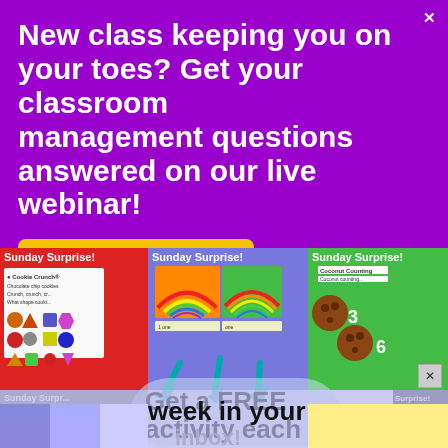New class keeping you on your toes? Get your classroom management questions answered on our live webinar!
Sign me up!
[Figure (infographic): Colorful promotional banner showing 'Sunday Surprise!' educational activity cards with arrows and text: 'Get a FREE activity each week in your inbox!']